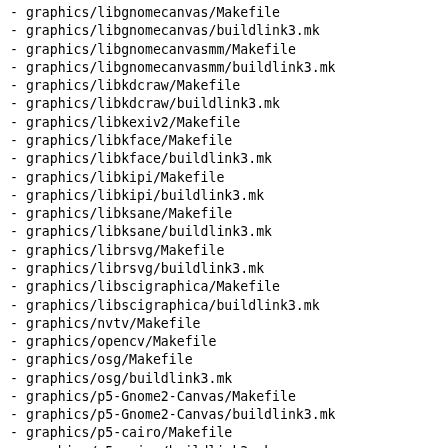- graphics/libgnomecanvas/Makefile
- graphics/libgnomecanvas/buildlink3.mk
- graphics/libgnomecanvasmm/Makefile
- graphics/libgnomecanvasmm/buildlink3.mk
- graphics/libkdcraw/Makefile
- graphics/libkdcraw/buildlink3.mk
- graphics/libkexiv2/Makefile
- graphics/libkface/Makefile
- graphics/libkface/buildlink3.mk
- graphics/libkipi/Makefile
- graphics/libkipi/buildlink3.mk
- graphics/libksane/Makefile
- graphics/libksane/buildlink3.mk
- graphics/librsvg/Makefile
- graphics/librsvg/buildlink3.mk
- graphics/libscigraphica/Makefile
- graphics/libscigraphica/buildlink3.mk
- graphics/nvtv/Makefile
- graphics/opencv/Makefile
- graphics/osg/Makefile
- graphics/osg/buildlink3.mk
- graphics/p5-Gnome2-Canvas/Makefile
- graphics/p5-Gnome2-Canvas/buildlink3.mk
- graphics/p5-cairo/Makefile
- graphics/p5-cairo/buildlink3.mk
- graphics/p5-clutter/Makefile
- graphics/py-cairo/Makefile
- graphics/py-cairo/buildlink3.mk
- graphics/py-clutter-gtk/Makefile
- graphics/py-clutter/Makefile